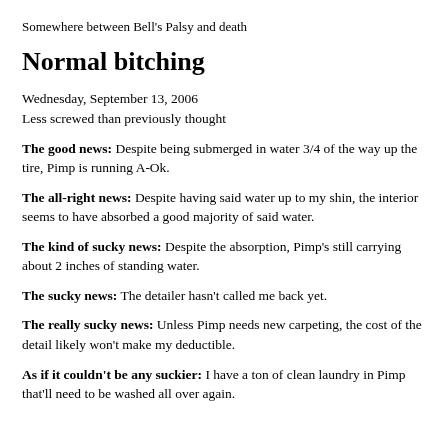Somewhere between Bell's Palsy and death
Normal bitching
Wednesday, September 13, 2006
Less screwed than previously thought
The good news: Despite being submerged in water 3/4 of the way up the tire, Pimp is running A-Ok.
The all-right news: Despite having said water up to my shin, the interior seems to have absorbed a good majority of said water.
The kind of sucky news: Despite the absorption, Pimp's still carrying about 2 inches of standing water.
The sucky news: The detailer hasn't called me back yet.
The really sucky news: Unless Pimp needs new carpeting, the cost of the detail likely won't make my deductible.
As if it couldn't be any suckier: I have a ton of clean laundry in Pimp that'll need to be washed all over again.